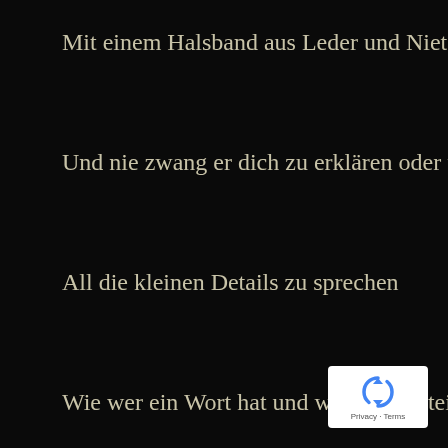Mit einem Halsband aus Leder und Nieten
Und nie zwang er dich zu erklären oder über
All die kleinen Details zu sprechen
Wie wer ein Wort hat und wer einen Stein
[Figure (logo): Google reCAPTCHA privacy badge with blue recycling-style arrow icon and 'Privacy · Terms' text]